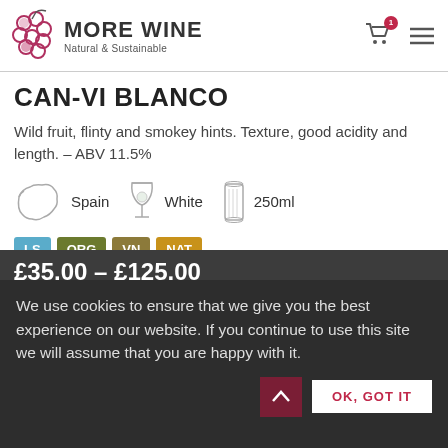MORE WINE — Natural & Sustainable
CAN-VI BLANCO
Wild fruit, flinty and smokey hints. Texture, good acidity and length. – ABV 11.5%
Spain | White | 250ml
LS | ORG | VN | NAT
£35.00 – £125.00
We use cookies to ensure that we give you the best experience on our website. If you continue to use this site we will assume that you are happy with it.
OK, GOT IT